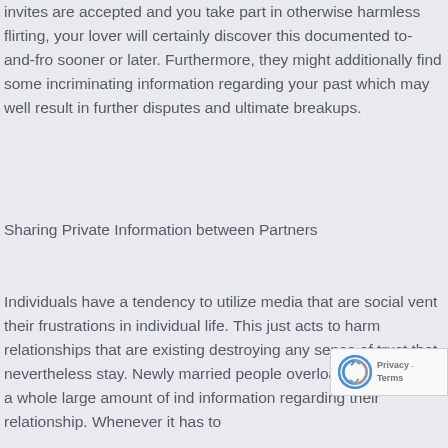invites are accepted and you take part in otherwise harmless flirting, your lover will certainly discover this documented to-and-fro sooner or later. Furthermore, they might additionally find some incriminating information regarding your past which may well result in further disputes and ultimate breakups.
Sharing Private Information between Partners
Individuals have a tendency to utilize media that are social vent their frustrations in individual life. This just acts to harm relationships that are existing destroying any sense of trust that nevertheless stay. Newly married people overload by publishing a whole large amount of ind information regarding their relationship. Whenever it has to